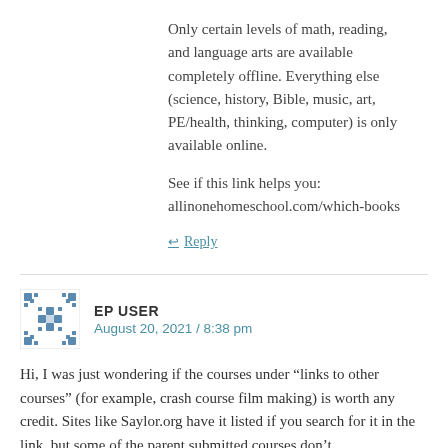Only certain levels of math, reading, and language arts are available completely offline. Everything else (science, history, Bible, music, art, PE/health, thinking, computer) is only available online.
See if this link helps you: allinonehomeschool.com/which-books
↵ Reply
EP USER
August 20, 2021 / 8:38 pm
Hi, I was just wondering if the courses under “links to other courses” (for example, crash course film making) is worth any credit. Sites like Saylor.org have it listed if you search for it in the link, but some of the parent submitted courses don’t.